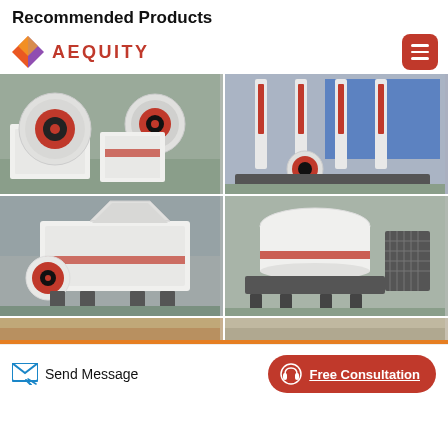Recommended Products
[Figure (logo): Aequity logo with geometric diamond/triangle icon in red/purple/orange and the text AEQUITY in red]
[Figure (photo): Industrial jaw crusher machine with large red and black flywheels in a factory setting]
[Figure (photo): Industrial hydraulic rock breaker / hammer machine with red cylinders and blue background in factory]
[Figure (photo): White and red impact crusher / hammer mill machine in factory warehouse]
[Figure (photo): White and red cone/VSI crusher machine with metal grid guard in factory]
[Figure (photo): Partial view of industrial machinery - bottom row left, partially cut off]
[Figure (photo): Partial view of industrial machinery - bottom row right, partially cut off]
Send Message
Free Consultation